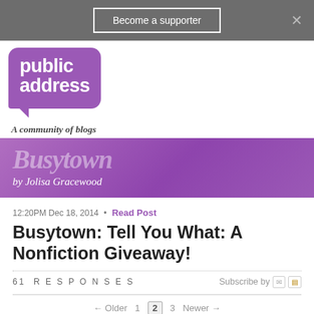Become a supporter
[Figure (logo): Public Address logo — speech bubble shape in purple with 'public address' text in white, tagline 'A community of blogs']
[Figure (logo): Busytown blog banner in purple with large italic text 'Busytown' and byline 'by Jolisa Gracewood']
12:20PM Dec 18, 2014 • Read Post
Busytown: Tell You What: A Nonfiction Giveaway!
61 RESPONSES   Subscribe by
← Older  1  2  3  Newer →